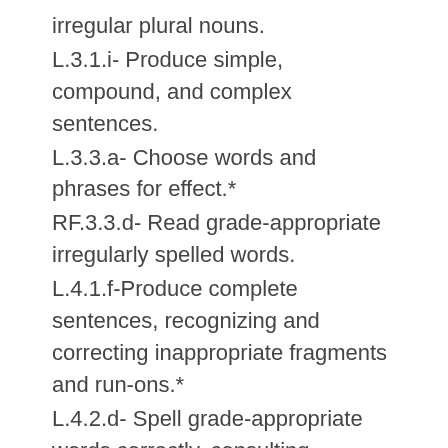irregular plural nouns.
L.3.1.i- Produce simple, compound, and complex sentences.
L.3.3.a- Choose words and phrases for effect.*
RF.3.3.d- Read grade-appropriate irregularly spelled words.
L.4.1.f-Produce complete sentences, recognizing and correcting inappropriate fragments and run-ons.*
L.4.2.d- Spell grade-appropriate words correctly, consulting references